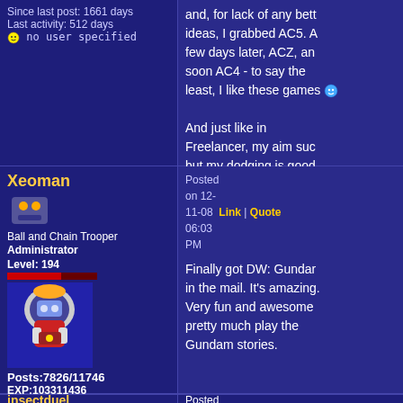Since last post: 1661 days
Last activity: 512 days
no user specified
and, for lack of any better ideas, I grabbed AC5. A few days later, ACZ, and soon AC4 - to say the least, I like these games :)

And just like in Freelancer, my aim sucks but my dodging is good
Xeoman
Ball and Chain Trooper
Administrator
Level: 194
Posts:7826/11746
EXP:103311436
For next:231658
Since: 08-14-04
From: 255
Since last post: 102 days
Last activity: 69 days
no user specified
Posted on 12-11-08 06:03 PM  Link | Quote

Finally got DW: Gundam in the mail. It's amazing. Very fun and awesome pretty much play the Gundam stories.
insectduel
Posted